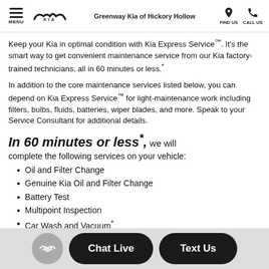MENU | Greenway Kia of Hickory Hollow | FIND US | CALL US
Keep your Kia in optimal condition with Kia Express Service™. It's the smart way to get convenient maintenance service from our Kia factory-trained technicians, all in 60 minutes or less.*
In addition to the core maintenance services listed below, you can depend on Kia Express Service™ for light-maintenance work including filters, bulbs, fluids, batteries, wiper blades, and more. Speak to your Service Consultant for additional details.
In 60 minutes or less*, we will complete the following services on your vehicle:
Oil and Filter Change
Genuine Kia Oil and Filter Change
Battery Test
Multipoint Inspection
Car Wash and Vacuum*
Chat Live | Text Us